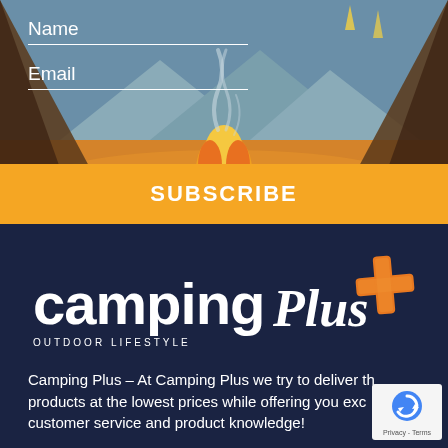[Figure (illustration): Camping scene illustration showing a view from inside a tent looking out at a campfire with mountains and sky in background, orange/warm color palette]
Name
Email
SUBSCRIBE
[Figure (logo): Camping Plus Outdoor Lifestyle logo with orange brush-stroke plus sign, white text on dark navy background]
Camping Plus – At Camping Plus we try to deliver the best products at the lowest prices while offering you exceptional customer service and product knowledge!